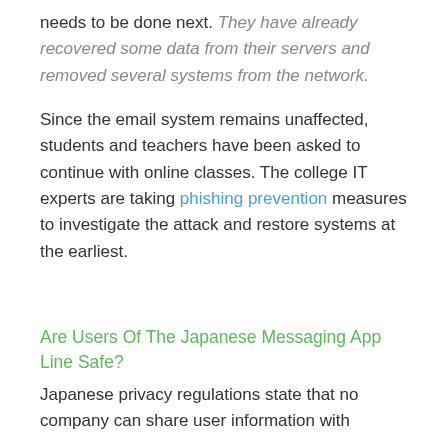needs to be done next. They have already recovered some data from their servers and removed several systems from the network.
Since the email system remains unaffected, students and teachers have been asked to continue with online classes. The college IT experts are taking phishing prevention measures to investigate the attack and restore systems at the earliest.
Are Users Of The Japanese Messaging App Line Safe?
Japanese privacy regulations state that no company can share user information with